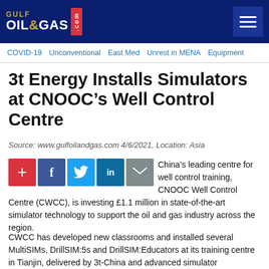[Figure (logo): Gulf Oil & Gas .com logo on dark navy header bar with hamburger menu button]
COVID-19   Unconventional   East Med   Unrest in MENA   Equipment
3t Energy Installs Simulators at CNOOC’s Well Control Centre
Source: www.gulfoilandgas.com 4/6/2021, Location: Asia
China’s leading centre for well control training, CNOOC Well Control Centre (CWCC), is investing £1.1 million in state-of-the-art simulator technology to support the oil and gas industry across the region.
CWCC has developed new classrooms and installed several MultiSIMs, DrillSIM:5s and DrillSIM:Educators at its training centre in Tianjin, delivered by 3t-China and advanced simulator